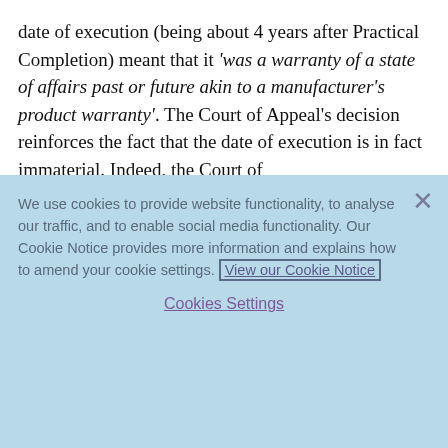date of execution (being about 4 years after Practical Completion) meant that it 'was a warranty of a state of affairs past or future akin to a manufacturer's product warranty'. The Court of Appeal's decision reinforces the fact that the date of execution is in fact immaterial. Indeed, the Court of
We use cookies to provide website functionality, to analyse our traffic, and to enable social media functionality. Our Cookie Notice provides more information and explains how to amend your cookie settings. View our Cookie Notice
Cookies Settings
Reject All
Accept All Cookies